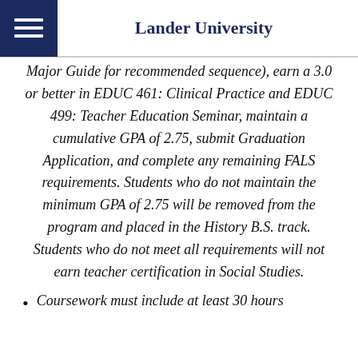Lander University
Major Guide for recommended sequence), earn a 3.0 or better in EDUC 461: Clinical Practice and EDUC 499: Teacher Education Seminar, maintain a cumulative GPA of 2.75, submit Graduation Application, and complete any remaining FALS requirements. Students who do not maintain the minimum GPA of 2.75 will be removed from the program and placed in the History B.S. track. Students who do not meet all requirements will not earn teacher certification in Social Studies.
Coursework must include at least 30 hours